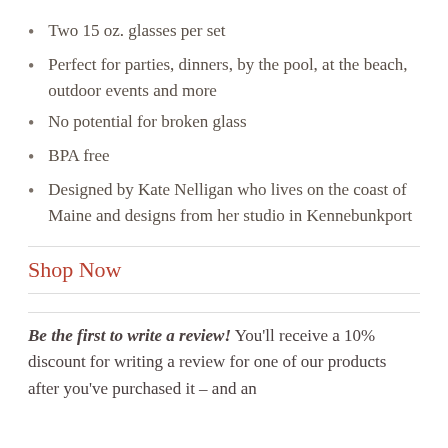Two 15 oz. glasses per set
Perfect for parties, dinners, by the pool, at the beach, outdoor events and more
No potential for broken glass
BPA free
Designed by Kate Nelligan who lives on the coast of Maine and designs from her studio in Kennebunkport
Shop Now
Be the first to write a review! You'll receive a 10% discount for writing a review for one of our products after you've purchased it – and an